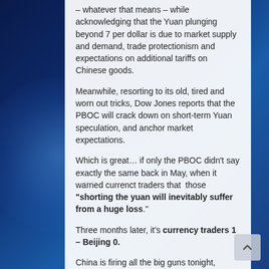– whatever that means – while acknowledging that the Yuan plunging beyond 7 per dollar is due to market supply and demand, trade protectionism and expectations on additional tariffs on Chinese goods.
Meanwhile, resorting to its old, tired and worn out tricks, Dow Jones reports that the PBOC will crack down on short-term Yuan speculation, and anchor market expectations.
Which is great… if only the PBOC didn't say exactly the same back in May, when it warned currenct traders that those "shorting the yuan will inevitably suffer from a huge loss.".
Three months later, it's currency traders 1 – Beijing 0.
China is firing all the big guns tonight, because just